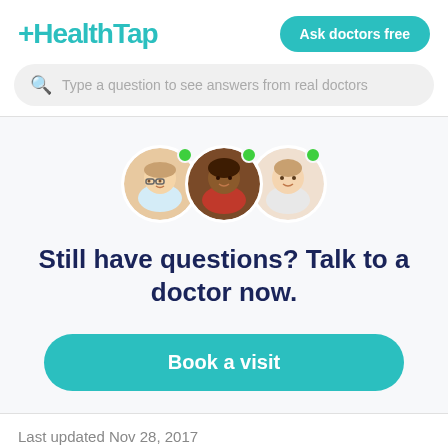[Figure (logo): HealthTap logo with teal cross and teal text]
Ask doctors free
Type a question to see answers from real doctors
[Figure (photo): Three circular doctor profile photos with green online indicator dots]
Still have questions? Talk to a doctor now.
Book a visit
Last updated Nov 28, 2017